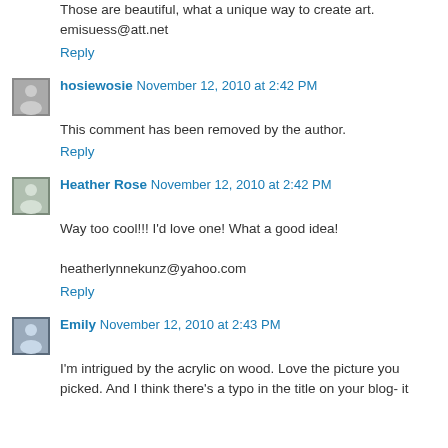Those are beautiful, what a unique way to create art. emisuess@att.net
Reply
hosiewosie November 12, 2010 at 2:42 PM
This comment has been removed by the author.
Reply
Heather Rose November 12, 2010 at 2:42 PM
Way too cool!!! I'd love one! What a good idea!

heatherlynnekunz@yahoo.com
Reply
Emily November 12, 2010 at 2:43 PM
I'm intrigued by the acrylic on wood. Love the picture you picked. And I think there's a typo in the title on your blog- it